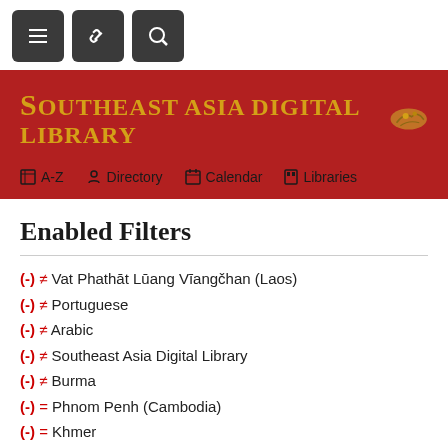[Figure (screenshot): Top navigation bar with three dark square buttons: hamburger menu, link/chain icon, and search icon]
[Figure (screenshot): Red header banner with 'Southeast Asia Digital Library' title in gold and navigation links: A-Z, Directory, Calendar, Libraries]
Enabled Filters
(-) ≠ Vat Phathāt Lūang Vīangčhan (Laos)
(-) ≠ Portuguese
(-) ≠ Arabic
(-) ≠ Southeast Asia Digital Library
(-) ≠ Burma
(-) = Phnom Penh (Cambodia)
(-) = Khmer
(-) = English
(-) ≠ French